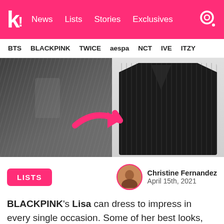k! | News  Lists  Stories  Exclusives
BTS  BLACKPINK  TWICE  aespa  NCT  IVE  ITZY
[Figure (photo): Split image: left side shows Lisa of BLACKPINK wearing a dark pinstripe blazer with white shirt and grey skirt; right side shows a product image of a black pinstripe blazer with a pink arrow pointing from the left photo to the right product.]
LISTS
Christine Fernandez
April 15th, 2021
BLACKPINK's Lisa can dress to impress in every single occasion. Some of her best looks, without a doubt, are from her Instagram